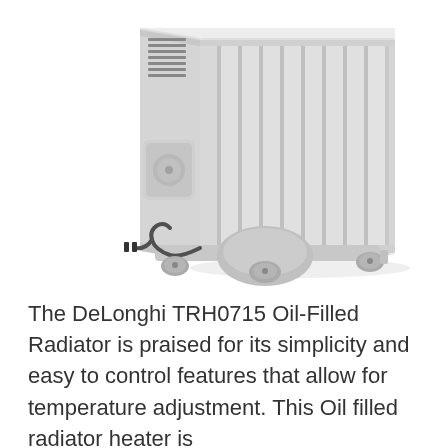[Figure (photo): A DeLonghi TRH0715 oil-filled radiator heater shown in a 3/4 angle view. The heater is white/light gray with vertical fins, a control panel on the side, a power cord coiled at the base, and four gray caster wheels at the bottom.]
The DeLonghi TRH0715 Oil-Filled Radiator is praised for its simplicity and easy to control features that allow for temperature adjustment. This Oil filled radiator heater is